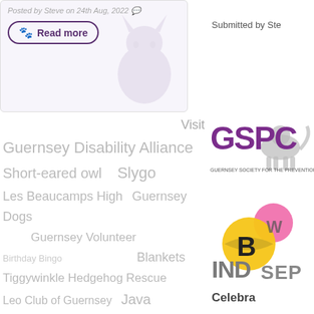Posted by Steve on 24th Aug, 2022
Read more
Visit
[Figure (illustration): Cat silhouette watermark in card background]
Guernsey Disability Alliance
Short-eared owl   Slygo
Les Beaucamps High   Guernsey Dogs
Guernsey Volunteer
Birthday Bingo   Blankets
Tiggywinkle Hedgehog Rescue
Leo Club of Guernsey   Java Sparrows
Smith Street   Peter Rabbit and Friends
Barclays Wealth   GFF
Community Matters   Pub quiz   Winter Advice
Menfun   La Société Conservation Herd
Eat Drink and Be Local   Amazon
Elaine Christian Memorial Garden
[Figure (logo): GSPC logo - Guernsey Society for the Prevention of Cruelty, showing animal silhouette and purple text]
Submitted by Ste
[Figure (logo): Bee character logo with 'B' and 'SEP' text, colourful yellow and pink bee graphic]
IND
Celebra